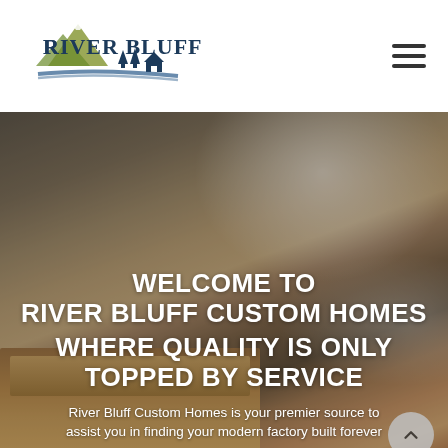[Figure (logo): River Bluff logo with mountain silhouette and pine trees above a river, with 'RIVER BLUFF' text in dark navy blue]
[Figure (photo): Interior photo of a custom home showing a coffered ceiling with recessed lighting and wooden kitchen cabinets]
WELCOME TO RIVER BLUFF CUSTOM HOMES
WHERE QUALITY IS ONLY TOPPED BY SERVICE
River Bluff Custom Homes is your premier source to assist you in finding your modern factory built forever